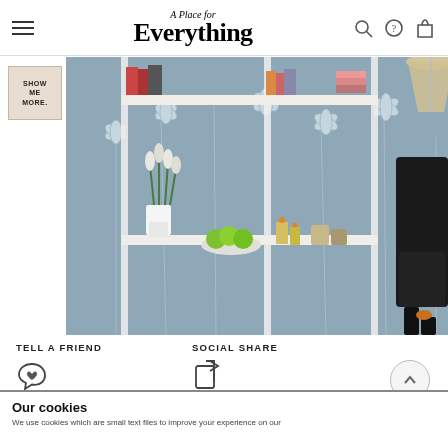A Place for Everything
[Figure (photo): Interior room photo showing white wall-mounted shelving system against floral wallpaper. Shelves hold books, tulips in a white pot, a bowl of limes, candles, and mugs. A black chair is partially visible on the right side.]
SHOW ME MORE
TELL A FRIEND
SOCIAL SHARE
Our cookies
We use cookies which are small text files to improve your experience on our